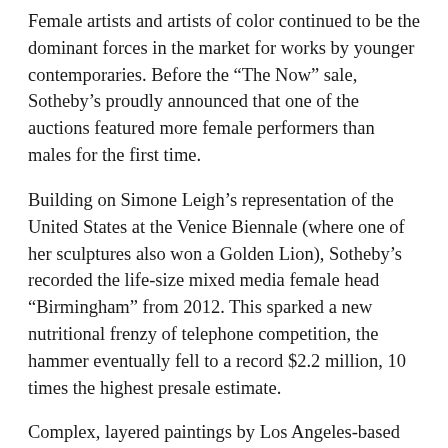Female artists and artists of color continued to be the dominant forces in the market for works by younger contemporaries. Before the “The Now” sale, Sotheby’s proudly announced that one of the auctions featured more female performers than males for the first time.
Building on Simone Leigh’s representation of the United States at the Venice Biennale (where one of her sculptures also won a Golden Lion), Sotheby’s recorded the life-size mixed media female head “Birmingham” from 2012. This sparked a new nutritional frenzy of telephone competition, the hammer eventually fell to a record $2.2 million, 10 times the highest presale estimate.
Complex, layered paintings by Los Angeles-based Christina Quarles have impressed critics and visitors to the Biennale’s central exhibition. This acclaim seemed to boost her market, with the 2019 canvas “Night Fell Upon